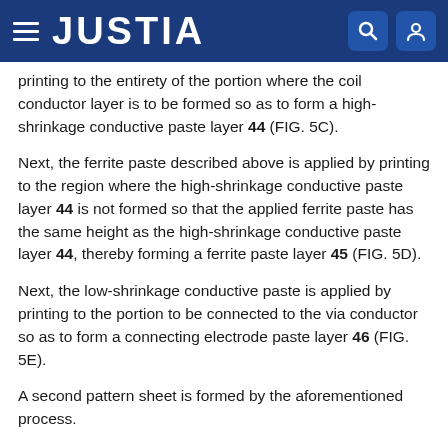JUSTIA
printing to the entirety of the portion where the coil conductor layer is to be formed so as to form a high-shrinkage conductive paste layer 44 (FIG. 5C).
Next, the ferrite paste described above is applied by printing to the region where the high-shrinkage conductive paste layer 44 is not formed so that the applied ferrite paste has the same height as the high-shrinkage conductive paste layer 44, thereby forming a ferrite paste layer 45 (FIG. 5D).
Next, the low-shrinkage conductive paste is applied by printing to the portion to be connected to the via conductor so as to form a connecting electrode paste layer 46 (FIG. 5E).
A second pattern sheet is formed by the aforementioned process.